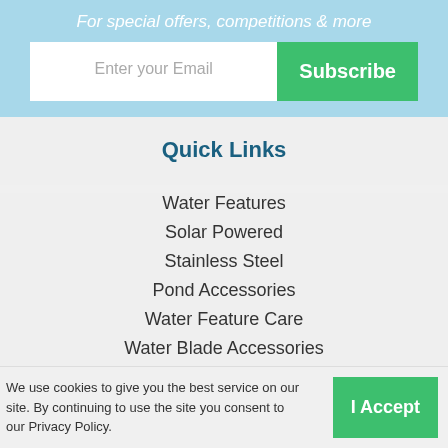For special offers, competitions & more
Enter your Email
Subscribe
Quick Links
Water Features
Solar Powered
Stainless Steel
Pond Accessories
Water Feature Care
Water Blade Accessories
Sale
We use cookies to give you the best service on our site. By continuing to use the site you consent to our Privacy Policy.
I Accept